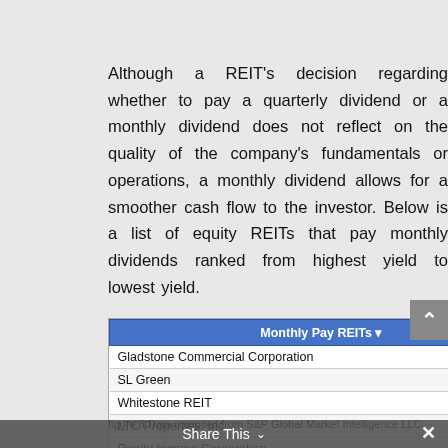Although a REIT's decision regarding whether to pay a quarterly dividend or a monthly dividend does not reflect on the quality of the company's fundamentals or operations, a monthly dividend allows for a smoother cash flow to the investor. Below is a list of equity REITs that pay monthly dividends ranked from highest yield to lowest yield.
| Monthly Pay REITs | Ticker | Dividend Yield 10/31/202- |
| --- | --- | --- |
| Gladstone Commercial Corporation | GOOD | 9.2% |
| SL Green | SLG | 8.3% |
| Whitestone REIT | WSR | 7.0% |
| LTC Properties, Inc. | LTC | 6.9% |
| Realty Income Corporation | O | 4.9% |
| STAG Industrial, Inc. | STAG | 4.6% |
| Gladstone Land Corporation | LAND | 3.9% |
figure 8 Data compiled from S&P Global Market Intelligence LLC